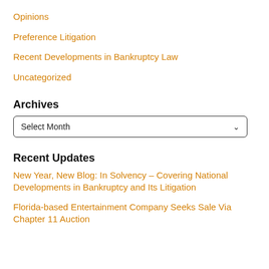Opinions
Preference Litigation
Recent Developments in Bankruptcy Law
Uncategorized
Archives
Select Month
Recent Updates
New Year, New Blog: In Solvency – Covering National Developments in Bankruptcy and Its Litigation
Florida-based Entertainment Company Seeks Sale Via Chapter 11 Auction